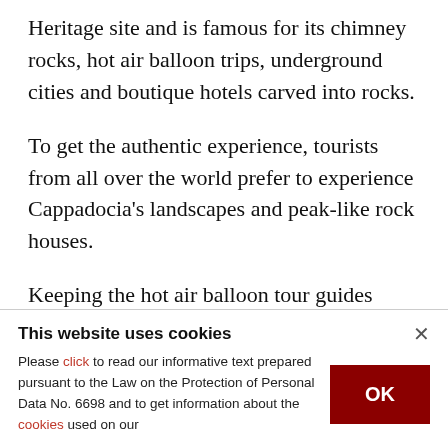Cappadocia is proclaimed a UNESCO World Heritage site and is famous for its chimney rocks, hot air balloon trips, underground cities and boutique hotels carved into rocks.
To get the authentic experience, tourists from all over the world prefer to experience Cappadocia's landscapes and peak-like rock houses.
Keeping the hot air balloon tour guides under strict control offer tourists comfort, safety and contribute
This website uses cookies
Please click to read our informative text prepared pursuant to the Law on the Protection of Personal Data No. 6698 and to get information about the cookies used on our